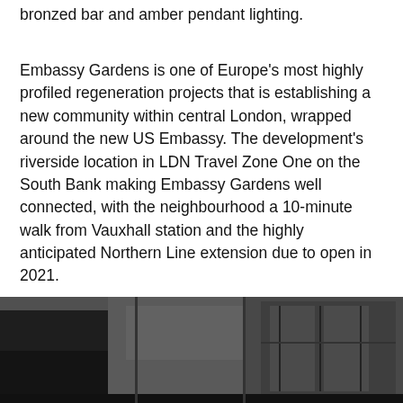bronzed bar and amber pendant lighting.
Embassy Gardens is one of Europe’s most highly profiled regeneration projects that is establishing a new community within central London, wrapped around the new US Embassy. The development’s riverside location in LDN Travel Zone One on the South Bank making Embassy Gardens well connected, with the neighbourhood a 10-minute walk from Vauxhall station and the highly anticipated Northern Line extension due to open in 2021.
[Figure (photo): Black and white photograph of Embassy Gardens building exterior, showing architectural details with dark structural elements and glass panels]